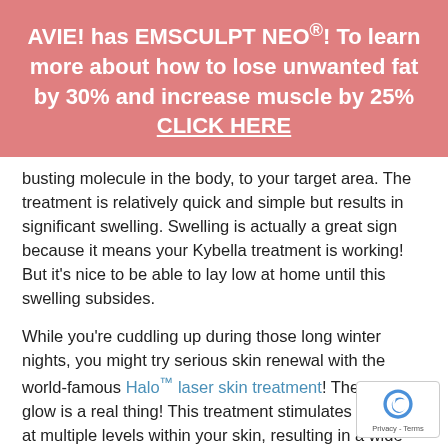AVIE! has EMSCULPT NEO®! To learn more about how to lose unwanted fat by 30% and increase muscle by 25% CLICK HERE
busting molecule in the body, to your target area. The treatment is relatively quick and simple but results in significant swelling. Swelling is actually a great sign because it means your Kybella treatment is working! But it's nice to be able to lay low at home until this swelling subsides.
While you're cuddling up during those long winter nights, you might try serious skin renewal with the world-famous Halo™ laser skin treatment! The Halo glow is a real thing! This treatment stimulates renewal at multiple levels within your skin, resulting in a wide range of complexion improvements, including smoother, brighter and more evenly toned skin. Depending on the intensity of your treatment, you could experience a week of redness and peeling.
Have you been thinking about blepharoplasty? This may your time to finally do it! An eyelid lift at AVIE! is an outpa procedure performed under local anesthesia by our med director, Dr. Khalique Zahir. As a board-certified plastic